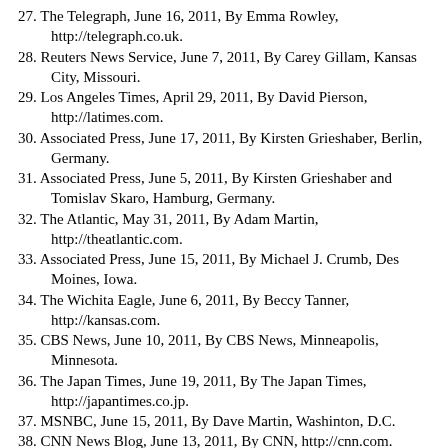27. The Telegraph, June 16, 2011, By Emma Rowley, http://telegraph.co.uk.
28. Reuters News Service, June 7, 2011, By Carey Gillam, Kansas City, Missouri.
29. Los Angeles Times, April 29, 2011, By David Pierson, http://latimes.com.
30. Associated Press, June 17, 2011, By Kirsten Grieshaber, Berlin, Germany.
31. Associated Press, June 5, 2011, By Kirsten Grieshaber and Tomislav Skaro, Hamburg, Germany.
32. The Atlantic, May 31, 2011, By Adam Martin, http://theatlantic.com.
33. Associated Press, June 15, 2011, By Michael J. Crumb, Des Moines, Iowa.
34. The Wichita Eagle, June 6, 2011, By Beccy Tanner, http://kansas.com.
35. CBS News, June 10, 2011, By CBS News, Minneapolis, Minnesota.
36. The Japan Times, June 19, 2011, By The Japan Times, http://japantimes.co.jp.
37. MSNBC, June 15, 2011, By Dave Martin, Washinton, D.C.
38. CNN News Blog, June 13, 2011, By CNN, http://cnn.com.
39. The Washington Post, June 17, 2011, By Associated Press, Albuquerque, New Mexico.
40. Associated Press, June 14, 2011, By Sarah DiLorenzo, Sydney, Australia.
41. Stuff.co.nz, June 19, 2011, By Iain McGregor, http://stuff.co.nz.
42. Reuters News Service, June 17, 2011, By Royston Chan, Zhuji, China.
43. CNBC, June 3, 2011, By Christine Cheddar Berk, http://cnbc.com.
44. CNBC, June 17, 2011, By Jeff Cox, http://cnbc.com.
45. CBS News, June 5, 2011, By Ben Tracy, http://cbsnews.com.
46. CNBC, June 8, 2011, By Margo D. Beller, http://cnbc.com.
Special Note: A new tribute website for Pastor David J. Meyer can now be accessed at http://pastormeyer.org.
To request or redistribute this newsletter, contact us at...